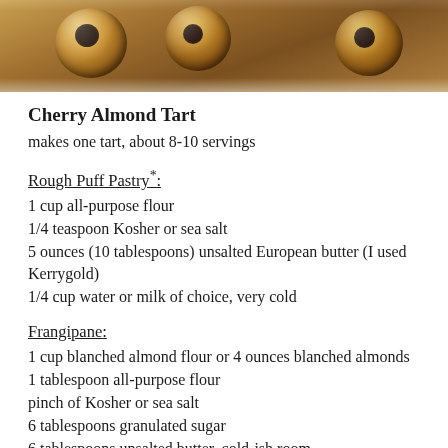[Figure (photo): Overhead photo of cherry almond tarts dusted with powdered sugar, showing dark cherry centers and golden pastry]
Cherry Almond Tart
makes one tart, about 8-10 servings
Rough Puff Pastry*:
1 cup all-purpose flour
1/4 teaspoon Kosher or sea salt
5 ounces (10 tablespoons) unsalted European butter (I used Kerrygold)
1/4 cup water or milk of choice, very cold
Frangipane:
1 cup blanched almond flour or 4 ounces blanched almonds
1 tablespoon all-purpose flour
pinch of Kosher or sea salt
6 tablespoons granulated sugar
6 tablespoons unsalted butter, cold-ish room